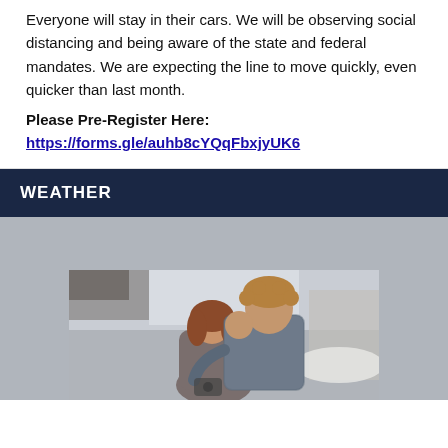Everyone will stay in their cars. We will be observing social distancing and being aware of the state and federal mandates. We are expecting the line to move quickly, even quicker than last month.
Please Pre-Register Here:
https://forms.gle/auhb8cYQqFbxjyUK6
WEATHER
[Figure (photo): A man and a woman embracing outdoors, the man leaning in close to the woman, both in casual clothing, with a blurred outdoor background.]